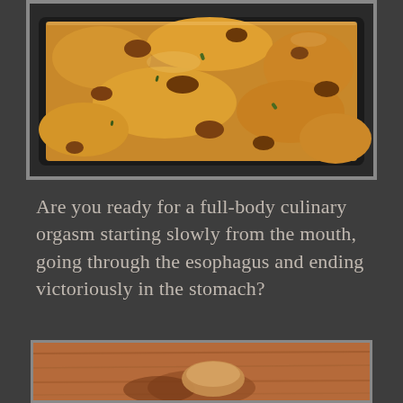[Figure (photo): A golden-brown baked casserole dish with cheesy, crispy topping in a dark baking pan, viewed from above at an angle.]
Are you ready for a full-body culinary orgasm starting slowly from the mouth, going through the esophagus and ending victoriously in the stomach?
[Figure (photo): A partially visible photo of food on wooden surface, cropped at bottom of page.]